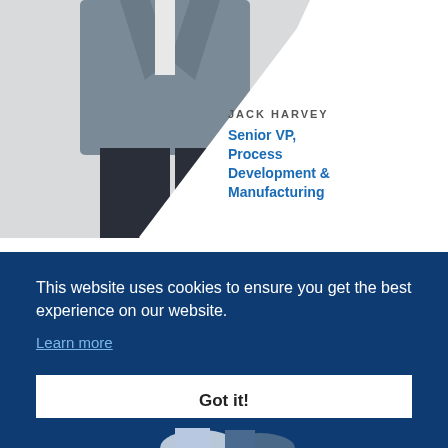[Figure (photo): Partial view of a man in a grey suit jacket and dark trousers, cropped at mid-body, with a diagonal white line overlay separating the photo from the text area.]
JACK HARVEY
Senior VP, Process Development & Manufacturing
This website uses cookies to ensure you get the best experience on our website.
Learn more
Got it!
[Figure (photo): Partial view of people at the bottom of the page, partially visible below the cookie banner.]